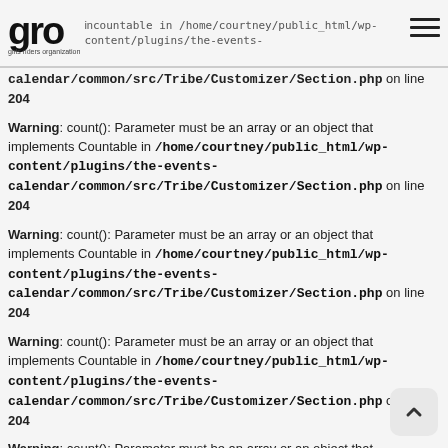gro - girls riders organization | Warning: count(): Parameter must be an array or an object that implements Countable in /home/courtney/public_html/wp-content/plugins/the-events-calendar/common/src/Tribe/Customizer/Section.php on line 204
Warning: count(): Parameter must be an array or an object that implements Countable in /home/courtney/public_html/wp-content/plugins/the-events-calendar/common/src/Tribe/Customizer/Section.php on line 204
Warning: count(): Parameter must be an array or an object that implements Countable in /home/courtney/public_html/wp-content/plugins/the-events-calendar/common/src/Tribe/Customizer/Section.php on line 204
Warning: count(): Parameter must be an array or an object that implements Countable in /home/courtney/public_html/wp-content/plugins/the-events-calendar/common/src/Tribe/Customizer/Section.php on line 204
Warning: count(): Parameter must be an array or an object that implements Countable in /home/courtney/public_html/wp-content/plugins/the-events-calendar/common/src/Tribe/Customizer/Section.php on line 204